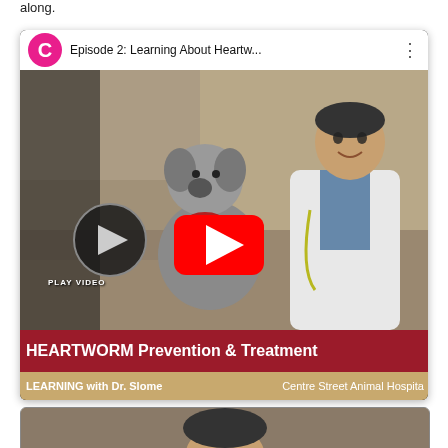along.
[Figure (screenshot): YouTube video thumbnail for 'Episode 2: Learning About Heartw...' showing a dog and a doctor (Dr. Slome) with a red YouTube play button in the center and a smaller circular play button labeled 'PLAY VIDEO' on the left. Below the thumbnail is a dark red banner reading 'HEARTWORM Prevention & Treatment' and a tan banner reading 'LEARNING with Dr. Slome' and 'Centre Street Animal Hospita'.]
[Figure (screenshot): Partial view of a second video card at the bottom of the page showing a person.]